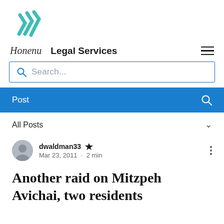[Figure (logo): Teal/turquoise stylized checkmark logo with diagonal lines]
Honenu   Legal Services
Search...
Post
All Posts
dwaldman33 [admin icon]  Mar 23, 2011 · 2 min
Another raid on Mitzpeh Avichai, two residents